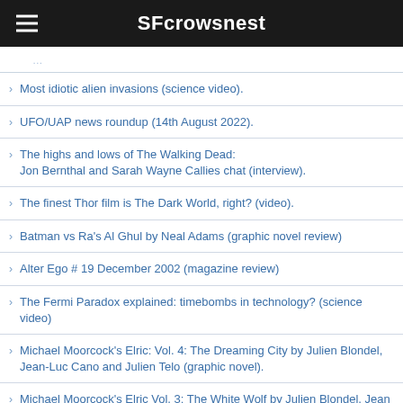SFcrowsnest
Most idiotic alien invasions (science video).
UFO/UAP news roundup (14th August 2022).
The highs and lows of The Walking Dead: Jon Bernthal and Sarah Wayne Callies chat (interview).
The finest Thor film is The Dark World, right? (video).
Batman vs Ra's Al Ghul by Neal Adams (graphic novel review)
Alter Ego # 19 December 2002 (magazine review)
The Fermi Paradox explained: timebombs in technology? (science video)
Michael Moorcock's Elric: Vol. 4: The Dreaming City by Julien Blondel, Jean-Luc Cano and Julien Telo (graphic novel).
Michael Moorcock's Elric Vol. 3: The White Wolf by Julien Blondel, Jean Luc-Cano, Julien Telo and Robin Recht (graphic novel review).
Orville scifi TV series: 3rd season review (video).
Time travel and warp drives, from the physicist they based Dr. Emmett Brown from Back to the Future on (video interview).